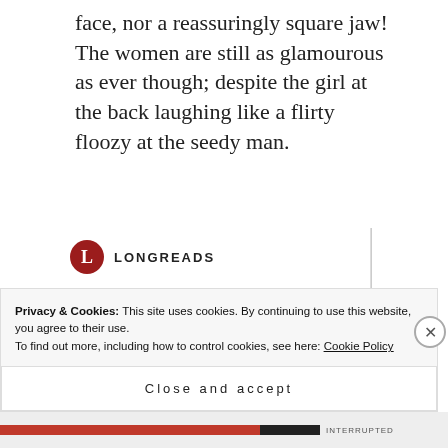face, nor a reassuringly square jaw! The women are still as glamourous as ever though; despite the girl at the back laughing like a flirty floozy at the seedy man.
[Figure (logo): Longreads logo: red semicircle badge with white L, followed by LONGREADS in uppercase letters]
Bringing you the best stories on the web since 2009.
Start reading
Privacy & Cookies: This site uses cookies. By continuing to use this website, you agree to their use.
To find out more, including how to control cookies, see here: Cookie Policy
Close and accept